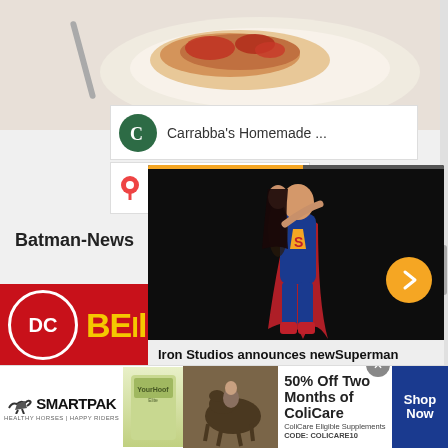[Figure (screenshot): Food photo at top of page showing a plate with chicken and tomato sauce, partially cropped]
Carrabba's Homemade ...
[Figure (screenshot): Map pin / location indicator row below Carrabba's listing]
Batman-News
[Figure (screenshot): Pop-up advertisement overlay showing Superman and Lois statue figures on dark background with orange arrow button and title 'Iron Studios announces newSuperman andLois statue']
Iron Studios announces newSuperman andLois statue
[Figure (logo): DC Comics red circle logo with letters DC]
[Figure (screenshot): SmartPak advertisement banner at bottom: 50% Off Two Months of ColiCare, ColiCare Eligible Supplements, CODE: COLICARE10, with Shop Now button]